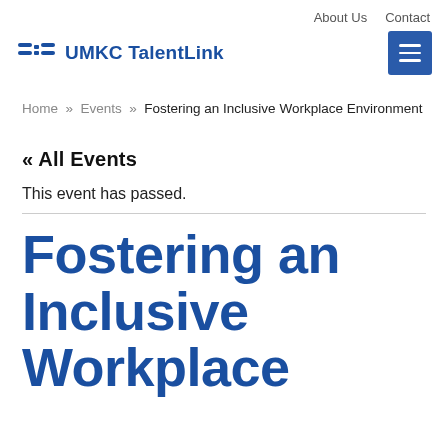About Us   Contact
UMKC TalentLink
Home » Events » Fostering an Inclusive Workplace Environment
« All Events
This event has passed.
Fostering an Inclusive Workplace